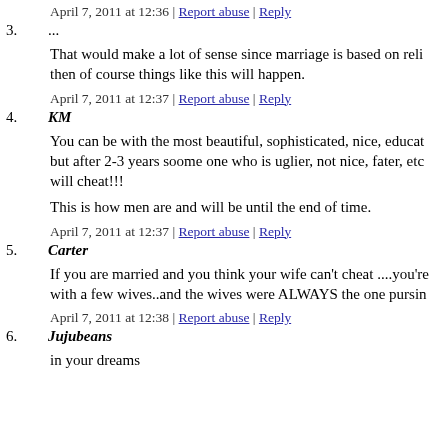April 7, 2011 at 12:36 | Report abuse | Reply
3. ...
That would make a lot of sense since marriage is based on reli... then of course things like this will happen.
April 7, 2011 at 12:37 | Report abuse | Reply
4. KM
You can be with the most beautiful, sophisticated, nice, educat... but after 2-3 years soome one who is uglier, not nice, fater, etc... will cheat!!!
This is how men are and will be until the end of time.
April 7, 2011 at 12:37 | Report abuse | Reply
5. Carter
If you are married and you think your wife can't cheat ....you're... with a few wives..and the wives were ALWAYS the one pursin...
April 7, 2011 at 12:38 | Report abuse | Reply
6. Jujubeans
in your dreams